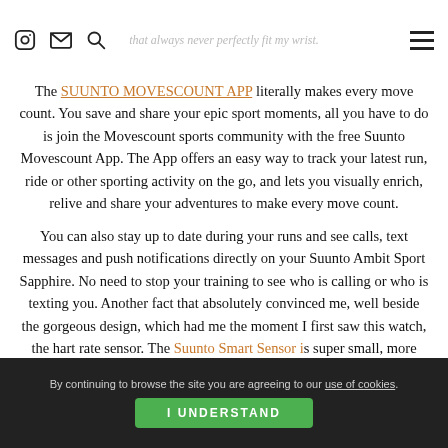that always never perfectly fit my wrist.
The SUUNTO MOVESCOUNT APP literally makes every move count. You save and share your epic sport moments, all you have to do is join the Movescount sports community with the free Suunto Movescount App. The App offers an easy way to track your latest run, ride or other sporting activity on the go, and lets you visually enrich, relive and share your adventures to make every move count.
You can also stay up to date during your runs and see calls, text messages and push notifications directly on your Suunto Ambit Sport Sapphire. No need to stop your training to see who is calling or who is texting you. Another fact that absolutely convinced me, well beside the gorgeous design, which had me the moment I first saw this watch, the hart rate sensor. The Suunto Smart Sensor is super small, more precisely the smallest Bluethooth compatible heart rate sensor on the market, it measures your heart rate with great comfort and accuracy. Pairing
By continuing to browse the site you are agreeing to our use of cookies. I UNDERSTAND